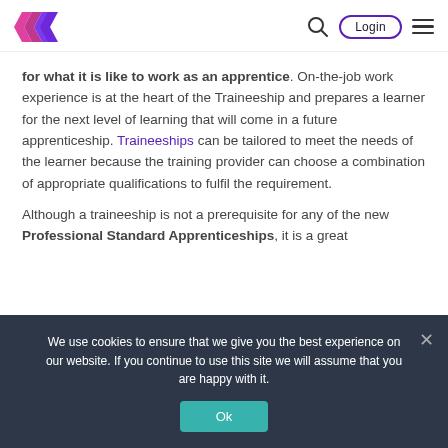Logo | Search | Login | Menu
for what it is like to work as an apprentice. On-the-job work experience is at the heart of the Traineeship and prepares a learner for the next level of learning that will come in a future apprenticeship. Traineeships can be tailored to meet the needs of the learner because the training provider can choose a combination of appropriate qualifications to fulfil the requirement.
Although a traineeship is not a prerequisite for any of the new Professional Standard Apprenticeships, it is a great
We use cookies to ensure that we give you the best experience on our website. If you continue to use this site we will assume that you are happy with it.